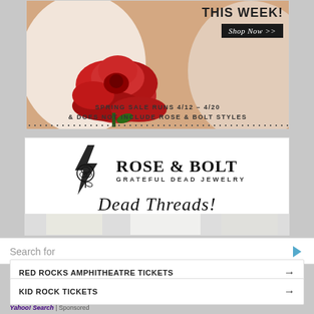[Figure (photo): Top advertisement banner showing a woman holding a red rose with text 'THIS WEEK!' and 'Shop Now >>' button, with dotted border at bottom]
SPRING SALE RUNS 4/12 – 4/20 & DOES NOT INCLUDE ROSE & BOLT STYLES
[Figure (logo): Rose & Bolt Grateful Dead Jewelry logo with lightning bolt and rose graphic, followed by cursive 'New Dead Threads!' text]
Search for
RED ROCKS AMPHITHEATRE TICKETS →
KID ROCK TICKETS →
Yahoo! Search | Sponsored